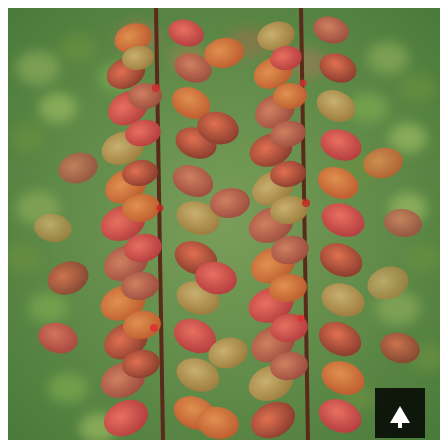[Figure (photo): Close-up photograph of a barberry shrub (Berberis) with dense clusters of small rounded leaves in shades of red, orange, coral, and yellow-green growing along dark reddish-brown stems. The background is blurred with similar foliage in soft green and red tones. In the lower-right corner there is a small black square button with a white upward-pointing arrow icon.]